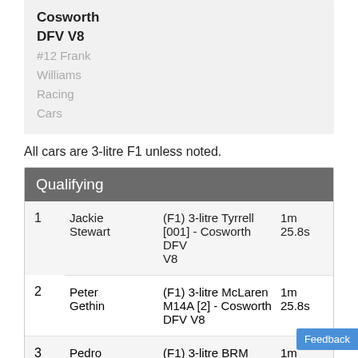Cosworth DFV V8
#12 Frank Williams Racing Cars
All cars are 3-litre F1 unless noted.
|  | Qualifying |  |  |
| --- | --- | --- | --- |
| 1 | Jackie Stewart | (F1) 3-litre Tyrrell [001] - Cosworth DFV V8 | 1m 25.8s |
| 2 | Peter Gethin | (F1) 3-litre McLaren M14A [2] - Cosworth DFV V8 | 1m 25.8s |
| 3 | Pedro | (F1) 3-litre BRM | 1m |